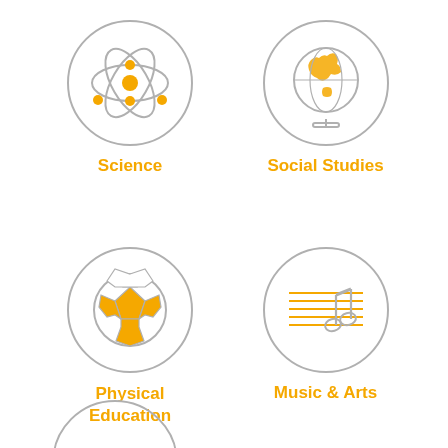[Figure (illustration): Circle icon with atom/science symbol in gray and yellow]
Science
[Figure (illustration): Circle icon with globe/world map in gray and yellow]
Social Studies
[Figure (illustration): Circle icon with soccer ball in gray and yellow]
Physical Education
[Figure (illustration): Circle icon with music note and staff lines in gray and yellow]
Music & Arts
[Figure (illustration): Partial circle icon at bottom, cut off]